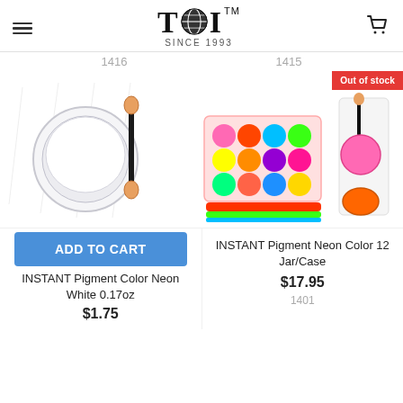TDI TM SINCE 1993
1416   1415
[Figure (photo): White pigment powder jar with applicator brush]
[Figure (photo): Neon color pigment jar set with 12 jars in a case, plus individual jar]
Out of stock
ADD TO CART
INSTANT Pigment Color Neon White 0.17oz
$1.75
INSTANT Pigment Neon Color 12 Jar/Case
$17.95
1401